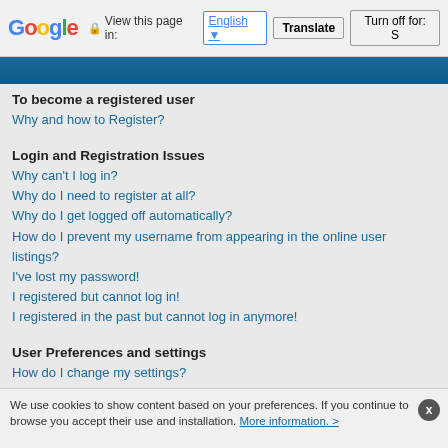Google Translate bar — View this page in: English | Translate | Turn off for: S
[Figure (screenshot): Blue banner header strip]
To become a registered user
Why and how to Register?
Login and Registration Issues
Why can't I log in?
Why do I need to register at all?
Why do I get logged off automatically?
How do I prevent my username from appearing in the online user listings?
I've lost my password!
I registered but cannot log in!
I registered in the past but cannot log in anymore!
User Preferences and settings
How do I change my settings?
The times are not correct!
I changed the timezone and the time is still wrong!
My language is not in the list!
How do I show an image below my username?
How do I change my rank?
When I click the email link for a user it asks me to log in.
Posting Issues
How do I post a topic in a forum?
We use cookies to show content based on your preferences. If you continue to browse you accept their use and installation. More information. >